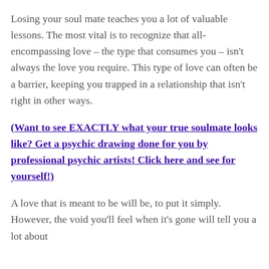Losing your soul mate teaches you a lot of valuable lessons. The most vital is to recognize that all-encompassing love – the type that consumes you – isn't always the love you require. This type of love can often be a barrier, keeping you trapped in a relationship that isn't right in other ways.
(Want to see EXACTLY what your true soulmate looks like? Get a psychic drawing done for you by professional psychic artists! Click here and see for yourself!)
A love that is meant to be will be, to put it simply. However, the void you'll feel when it's gone will tell you a lot about